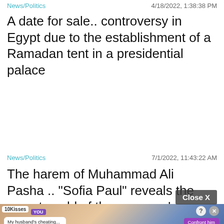News/Politics   4/18/2022, 1:38:38 PM
A date for sale.. controversy in Egypt due to the establishment of a Ramadan tent in a presidential palace
News/Politics   7/1/2022, 11:43:22 AM
The harem of Muhammad Ali Pasha .. "Sofia Paul" reveals the secret world of the governor's harem
[Figure (screenshot): Advertisement banner at the bottom showing a mobile game with romance theme, with close X button overlay]